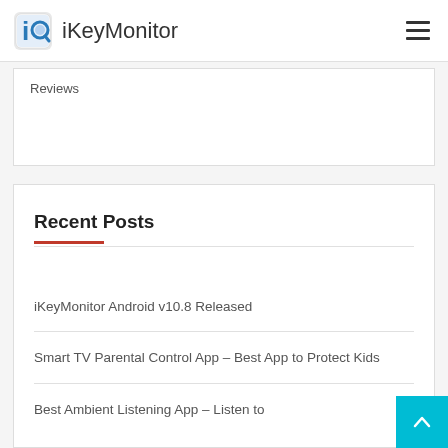iKeyMonitor
Reviews
Recent Posts
iKeyMonitor Android v10.8 Released
Smart TV Parental Control App – Best App to Protect Kids
Best Ambient Listening App – Listen to